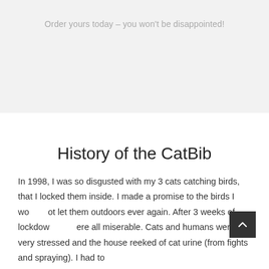Order yours today – you won't be disappointed!
History of the CatBib
In 1998, I was so disgusted with my 3 cats catching birds, that I locked them inside. I made a promise to the birds I would not let them outdoors ever again. After 3 weeks of lockdown we were all miserable. Cats and humans were very stressed and the house reeked of cat urine (from fights and spraying). I had to